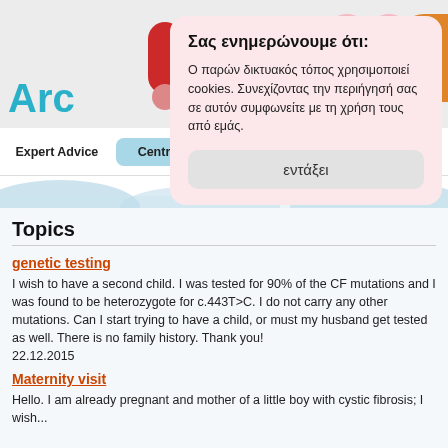[Figure (screenshot): Website top banner with decorative pill/circle shapes in red, pink, and orange on a light gray background]
Arc
Σας ενημερώνουμε ότι:
Ο παρών δικτυακός τόπος χρησιμοποιεί cookies. Συνεχίζοντας την περιήγησή σας σε αυτόν συμφωνείτε με τη χρήση τους από εμάς.
εντάξει
Expert Advice	Central Archive	Team	About EC
Topics
genetic testing
I wish to have a second child. I was tested for 90% of the CF mutations and I was found to be heterozygote for c.443T>C. I do not carry any other mutations. Can I start trying to have a child, or must my husband get tested as well. There is no family history. Thank you!
22.12.2015
Maternity visit
Hello. I am already pregnant and mother of a little boy with cystic fibrosis; I wish...